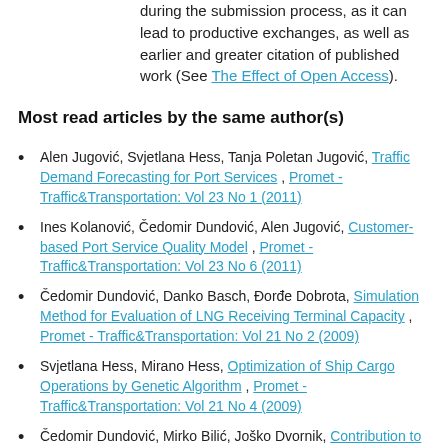during the submission process, as it can lead to productive exchanges, as well as earlier and greater citation of published work (See The Effect of Open Access).
Most read articles by the same author(s)
Alen Jugović, Svjetlana Hess, Tanja Poletan Jugović, Traffic Demand Forecasting for Port Services , Promet - Traffic&Transportation: Vol 23 No 1 (2011)
Ines Kolanović, Čedomir Dundović, Alen Jugović, Customer-based Port Service Quality Model , Promet - Traffic&Transportation: Vol 23 No 6 (2011)
Čedomir Dundović, Danko Basch, Đorđe Dobrota, Simulation Method for Evaluation of LNG Receiving Terminal Capacity , Promet - Traffic&Transportation: Vol 21 No 2 (2009)
Svjetlana Hess, Mirano Hess, Optimization of Ship Cargo Operations by Genetic Algorithm , Promet - Traffic&Transportation: Vol 21 No 4 (2009)
Čedomir Dundović, Mirko Bilić, Joško Dvornik, Contribution to the Development of a Simulation Model